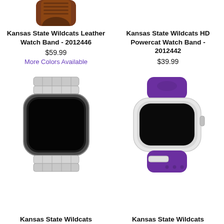[Figure (photo): Partial view of Kansas State Wildcats Leather Watch Band (brown leather) at top left]
Kansas State Wildcats Leather Watch Band - 2012446
$59.99
More Colors Available
Kansas State Wildcats HD Powercat Watch Band - 2012442
$39.99
[Figure (photo): Silver stainless steel link Apple Watch band with black watch face]
[Figure (photo): Purple silicone Apple Watch band with white watch case and black face]
Kansas State Wildcats
Kansas State Wildcats